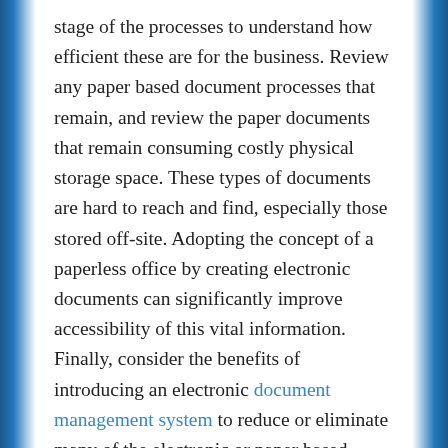stage of the processes to understand how efficient these are for the business. Review any paper based document processes that remain, and review the paper documents that remain consuming costly physical storage space. These types of documents are hard to reach and find, especially those stored off-site. Adopting the concept of a paperless office by creating electronic documents can significantly improve accessibility of this vital information. Finally, consider the benefits of introducing an electronic document management system to reduce or eliminate many of the electronic or paper based document process problems that